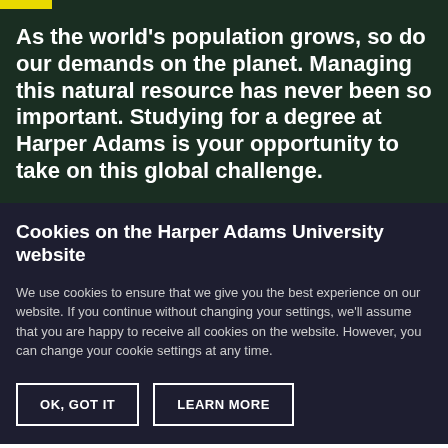As the world's population grows, so do our demands on the planet. Managing this natural resource has never been so important. Studying for a degree at Harper Adams is your opportunity to take on this global challenge.
Cookies on the Harper Adams University website
We use cookies to ensure that we give you the best experience on our website. If you continue without changing your settings, we'll assume that you are happy to receive all cookies on the website. However, you can change your cookie settings at any time.
OK, GOT IT
LEARN MORE